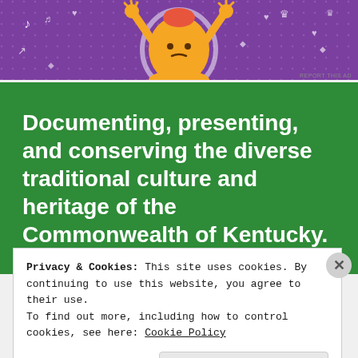[Figure (illustration): Colorful purple advertisement banner with cartoon character (orange figure with raised hands) and decorative elements including music notes, hearts, crowns on a purple dotted background]
REPORT THIS AD
Documenting, presenting, and conserving the diverse traditional culture and heritage of the Commonwealth of Kentucky.
[Figure (infographic): Social media icons: Facebook, Twitter, Instagram, YouTube — each in a circular bordered button]
Privacy & Cookies: This site uses cookies. By continuing to use this website, you agree to their use.
To find out more, including how to control cookies, see here: Cookie Policy
Close and accept